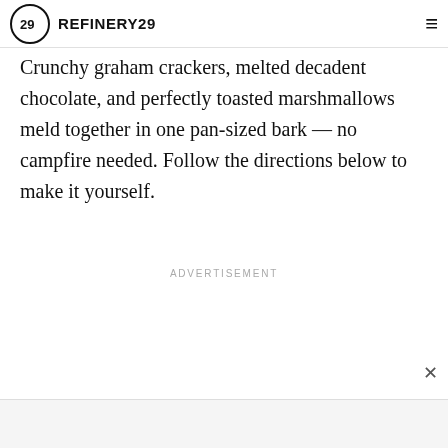REFINERY29
Crunchy graham crackers, melted decadent chocolate, and perfectly toasted marshmallows meld together in one pan-sized bark — no campfire needed. Follow the directions below to make it yourself.
ADVERTISEMENT